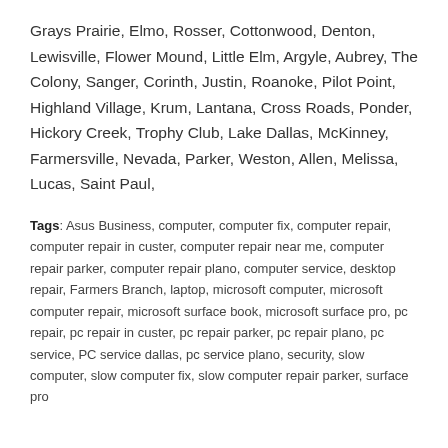Grays Prairie, Elmo, Rosser, Cottonwood, Denton, Lewisville, Flower Mound, Little Elm, Argyle, Aubrey, The Colony, Sanger, Corinth, Justin, Roanoke, Pilot Point, Highland Village, Krum, Lantana, Cross Roads, Ponder, Hickory Creek, Trophy Club, Lake Dallas, McKinney, Farmersville, Nevada, Parker, Weston, Allen, Melissa, Lucas, Saint Paul,
Tags: Asus Business, computer, computer fix, computer repair, computer repair in custer, computer repair near me, computer repair parker, computer repair plano, computer service, desktop repair, Farmers Branch, laptop, microsoft computer, microsoft computer repair, microsoft surface book, microsoft surface pro, pc repair, pc repair in custer, pc repair parker, pc repair plano, pc service, PC service dallas, pc service plano, security, slow computer, slow computer fix, slow computer repair parker, surface pro